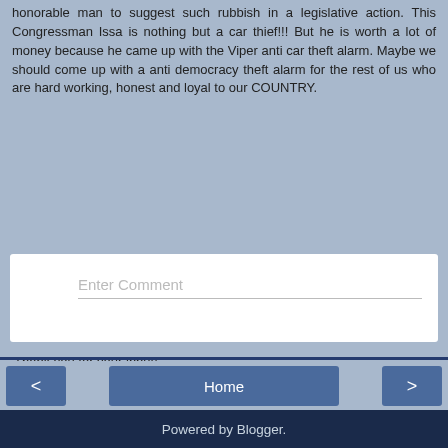honorable man to suggest such rubbish in a legislative action. This Congressman Issa is nothing but a car thief!!! But he is worth a lot of money because he came up with the Viper anti car theft alarm. Maybe we should come up with a anti democracy theft alarm for the rest of us who are hard working, honest and loyal to our COUNTRY.
Reply
[Figure (screenshot): Comment input box with avatar and 'Enter Comment' placeholder text]
Thank you for your input!
Your comment will appear soon.
Home  |  <  |  >  |  View web version  |  Powered by Blogger.